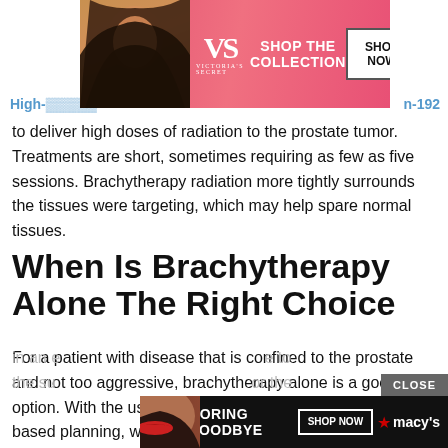[Figure (photo): Victoria's Secret advertisement banner showing a model and text 'SHOP THE COLLECTION' with a 'SHOP NOW' button]
High-... n-192
to deliver high doses of radiation to the prostate tumor. Treatments are short, sometimes requiring as few as five sessions. Brachytherapy radiation more tightly surrounds the tissues were targeting, which may help spare normal tissues.
When Is Brachytherapy Alone The Right Choice
For a patient with disease that is confined to the prostate and not too aggressive, brachytherapy alone is a good option. With the use of sophisticated real-time computer-based planning, we can use brachytherapy to deliver radiation in an e... e to the su... or the
[Figure (photo): Macy's advertisement banner showing a model with red lips and text 'KISS BORING LIPS GOODBYE' with a 'SHOP NOW' button and Macy's star logo]